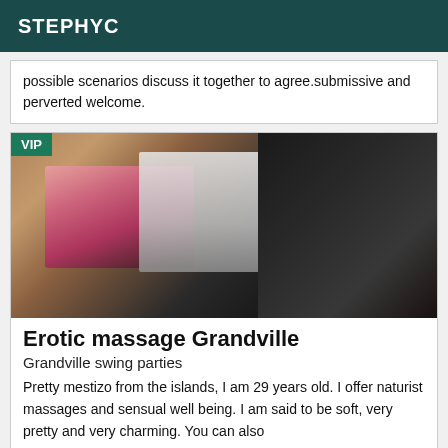STEPHYC
possible scenarios discuss it together to agree.submissive and perverted welcome.
[Figure (photo): Photo of a person wearing a pink and black swimsuit, lying down, with VIP badge overlay in top-left corner]
Erotic massage Grandville
Grandville swing parties
Pretty mestizo from the islands, I am 29 years old. I offer naturist massages and sensual well being. I am said to be soft, very pretty and very charming. You can also